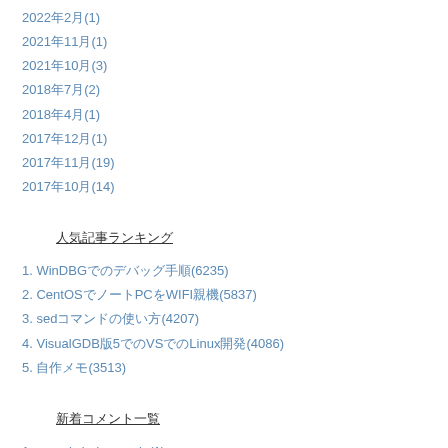2022年2月(1)
2021年11月(1)
2021年10月(3)
2018年7月(2)
2018年4月(1)
2017年12月(1)
2017年11月(19)
2017年10月(14)
人気記事ランキング
1. WinDBGでのデバッグ手順(6235)
2. CentOSでノートPCをWIFI親機(5837)
3. sedコマンドの使い方(4207)
4. VisualGDB版5でのVSでのLinux開発(4086)
5. 自作メモ(3513)
新着コメント一覧
1. mangleとdemangle(1)
2. CentOSでノートPCをWIFI親機(1)
タグ一覧